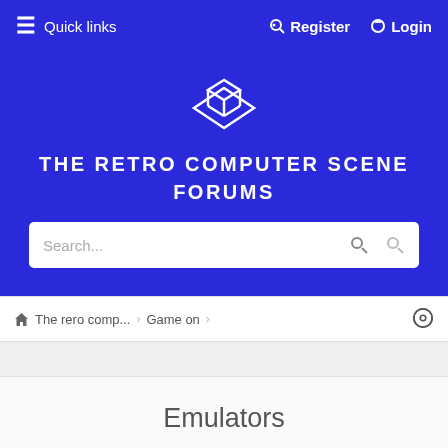≡ Quick links   Register   Login
THE RETRO COMPUTER SCENE FORUMS
[Figure (logo): White geometric cube/diamond logo icon]
Search...
🏠 The rero comp... › Game on ›
Emulators